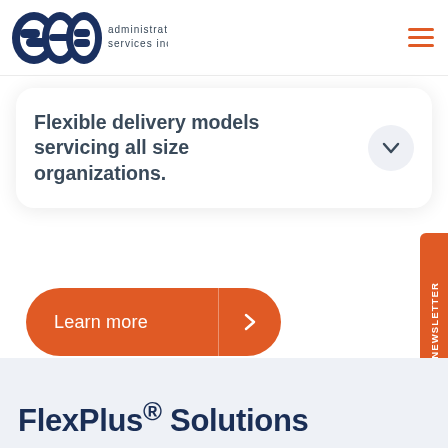[Figure (logo): SEB Administrative Services Inc. logo — dark navy blue letters 'seb' with stylized bird/swoosh design and text 'administrative services inc.' beside them]
Flexible delivery models servicing all size organizations.
Learn more
NEWSLETTER
FlexPlus® Solutions